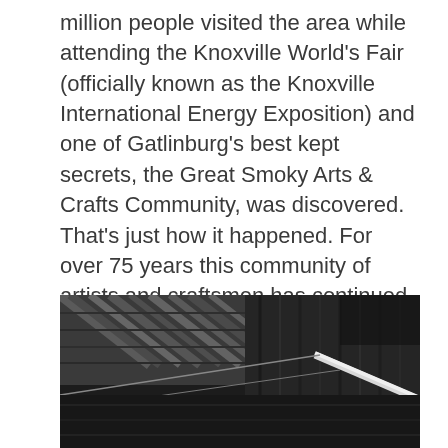million people visited the area while attending the Knoxville World's Fair (officially known as the Knoxville International Energy Exposition) and one of Gatlinburg's best kept secrets, the Great Smoky Arts & Crafts Community, was discovered. That's just how it happened. For over 75 years this community of artists and craftsmen has continued to grow and prosper and has become the largest artistic community in America.
[Figure (photo): Black and white photograph showing wooden barn or shed structure with diagonal wooden beams and planks, a white pole or rod visible in the middle-right area.]